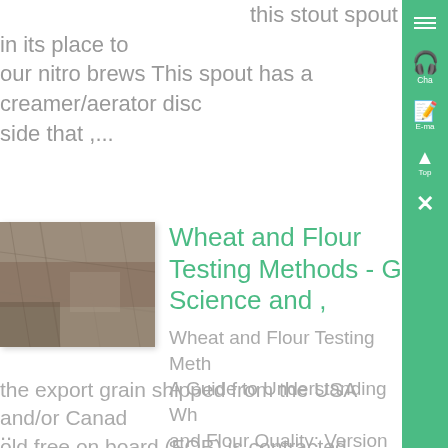this stout spout in its place to our nitro brews This spout has a creamer/aerator disc side that ,...
[Figure (photo): Photograph of a rough textured surface, possibly stone or concrete, dark brownish-gray tones]
Wheat and Flour Testing Methods - G Science and ,
Wheat and Flour Testing Meth A Guide to Understanding Wh and Flour Quality: Version 2 N
the export grain shipped from the USA and/or Canad old free on board (FOB) is contracted under the terms onditions of the North American Export Grain Associa c No 2 contract, often referred to as simply, NAEGA N ..